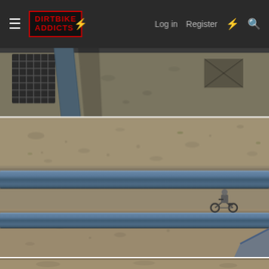Dirt Bike Addicts - Log in | Register
[Figure (photo): Top partial photo showing overhead view of dirt ground with a diagonal dark metal bar/tube and grid-patterned surface on left edge, dark objects visible in upper right]
[Figure (photo): Main photo showing aerial/overhead view of dirt/desert ground with two horizontal dark metal rail bars running across the frame, and a small motorcycle with rider visible in the lower-right area between the rails]
[Figure (photo): Bottom partial strip of another photo showing tan/sandy desert ground]